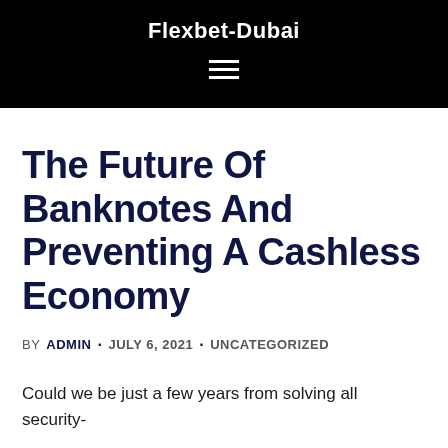Flexbet-Dubai
The Future Of Banknotes And Preventing A Cashless Economy
BY ADMIN · JULY 6, 2021 · UNCATEGORIZED
Could we be just a few years from solving all security-